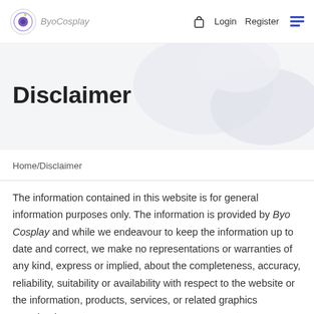ByoCosplay  Login  Register
Disclaimer
Home/Disclaimer
The information contained in this website is for general information purposes only. The information is provided by Byo Cosplay and while we endeavour to keep the information up to date and correct, we make no representations or warranties of any kind, express or implied, about the completeness, accuracy, reliability, suitability or availability with respect to the website or the information, products, services, or related graphics contained